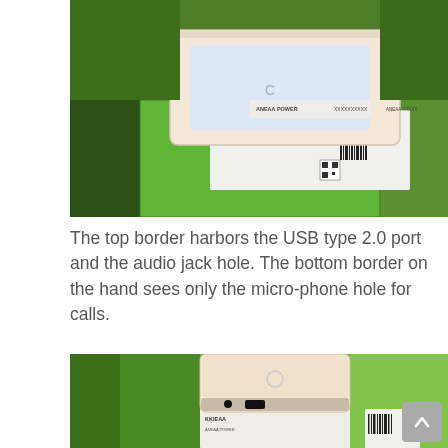[Figure (photo): Smartphone lying on top of a green product box, showing the top and side borders. A product label with barcodes is visible on the box.]
The top border harbors the USB type 2.0 port and the audio jack hole. The bottom border on the hand sees only the micro-phone hole for calls.
[Figure (photo): Smartphone top-down view resting on a green box, showing the top border with audio jack hole and USB port visible at the bottom edge.]